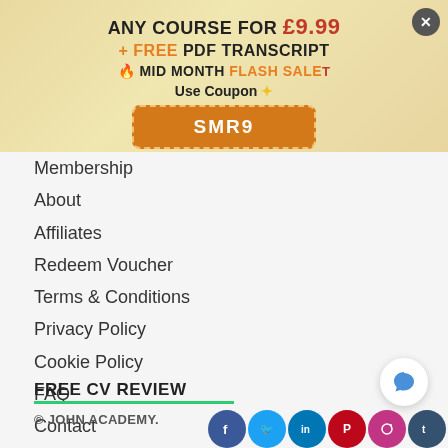[Figure (infographic): Promotional banner with gradient gold/beige background showing flash sale offer: ANY COURSE FOR £9.99 + FREE PDF TRANSCRIPT, MID MONTH FLASH SALE, Use Coupon SMR9 button. Close X button top right.]
Membership
About
Affiliates
Redeem Voucher
Terms & Conditions
Privacy Policy
Cookie Policy
FAQ
Contact
Blog
FREE CV REVIEW
© JOHN ACADEMY.